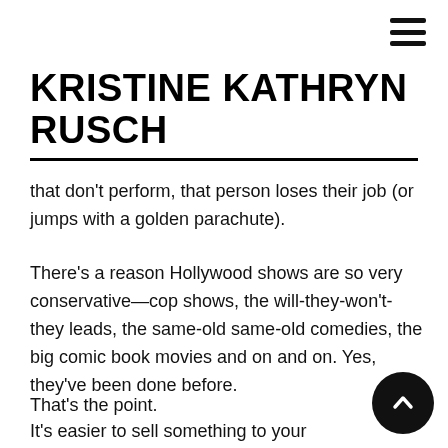KRISTINE KATHRYN RUSCH
that don't perform, that person loses their job (or jumps with a golden parachute).
There's a reason Hollywood shows are so very conservative—cop shows, the will-they-won't-they leads, the same-old same-old comedies, the big comic book movies and on and on. Yes, they've been done before.
That's the point.
It's easier to sell something to your boss in the studio by saying "This is just like Game of Thrones but with mermaids," than it is to